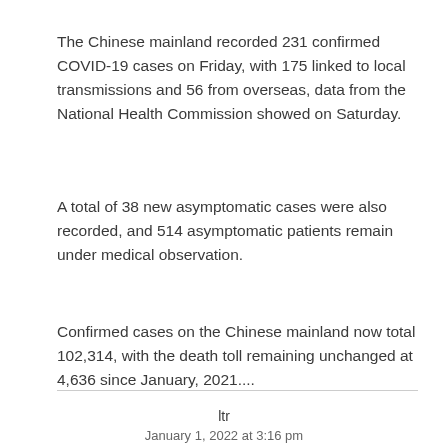The Chinese mainland recorded 231 confirmed COVID-19 cases on Friday, with 175 linked to local transmissions and 56 from overseas, data from the National Health Commission showed on Saturday.
A total of 38 new asymptomatic cases were also recorded, and 514 asymptomatic patients remain under medical observation.
Confirmed cases on the Chinese mainland now total 102,314, with the death toll remaining unchanged at 4,636 since January, 2021....
ltr
January 1, 2022 at 3:16 pm